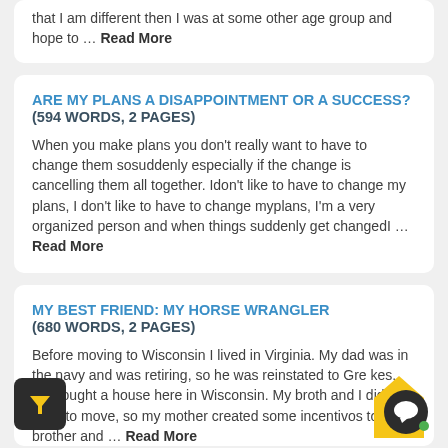that I am different then I was at some other age group and hope to … Read More
ARE MY PLANS A DISAPPOINTMENT OR A SUCCESS? (594 WORDS, 2 PAGES)
When you make plans you don't really want to have to change them sosuddenly especially if the change is cancelling them all together. Idon't like to have to change my plans, I don't like to have to change myplans, I'm a very organized person and when things suddenly get changedI … Read More
MY BEST FRIEND: MY HORSE WRANGLER (680 WORDS, 2 PAGES)
Before moving to Wisconsin I lived in Virginia. My dad was in the navy and was retiring, so he was reinstated to Gre kes. He bought a house here in Wisconsin. My broth and I did not want to move, so my mother created some incentivos to my brother and … Read More